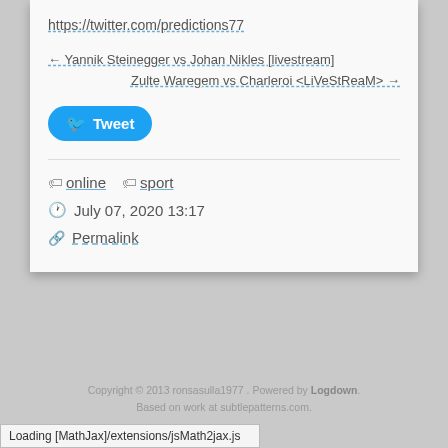https://twitter.com/predictions77
← Yannik Steinegger vs Johan Nikles [livestream]
Zulte Waregem vs Charleroi <LiVeStReaM> →
[Figure (other): Tweet button with Twitter bird icon]
online  sport
July 07, 2020 13:17
Permalink
Copyright © 2013 ronsasulla1977 . Powered by Logdown. Based on work at subtlepatterns.com.
Loading [MathJax]/extensions/jsMath2jax.js